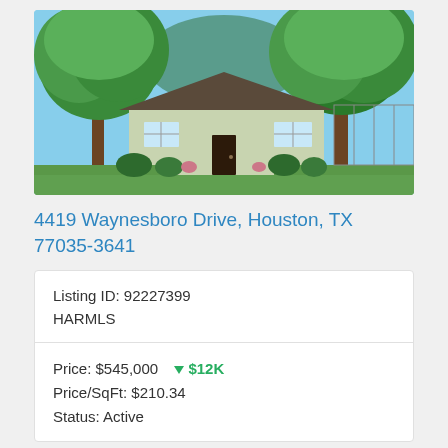[Figure (photo): Exterior photo of a single-story ranch-style house with large green trees, brick walkway, and manicured lawn at 4419 Waynesboro Drive, Houston, TX]
4419 Waynesboro Drive, Houston, TX 77035-3641
| Listing ID: 92227399 | HARMLS |
| Price: $545,000  ↓$12K | Price/SqFt: $210.34 | Status: Active |